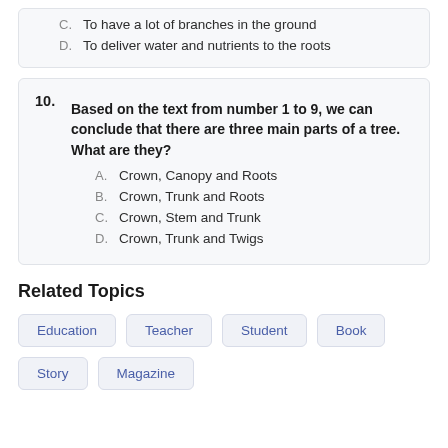B. To absorb water and nutrients from the soil
C. To have a lot of branches in the ground
D. To deliver water and nutrients to the roots
10. Based on the text from number 1 to 9, we can conclude that there are three main parts of a tree. What are they?
A. Crown, Canopy and Roots
B. Crown, Trunk and Roots
C. Crown, Stem and Trunk
D. Crown, Trunk and Twigs
Related Topics
Education  Teacher  Student  Book  Story  Magazine